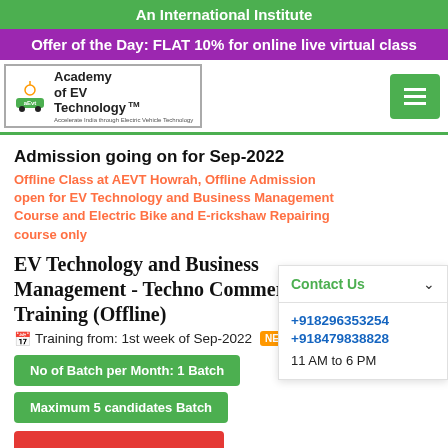An International Institute
Offer of the Day: FLAT 10% for online live virtual class
[Figure (logo): Academy of EV Technology logo with electric vehicle icon]
Admission going on for Sep-2022
Offline Class at AEVT Howrah, Offline Admission open for EV Technology and Business Management Course and Electric Bike and E-rickshaw Repairing course only
EV Technology and Business Management - Techno Commercial Training (Offline)
Training from: 1st week of Sep-2022 NEW
No of Batch per Month: 1 Batch
Maximum 5 candidates Batch
Become Training Partner
Submit Registration
Contact Us
+918296353254
+918479838828
11 AM to 6 PM